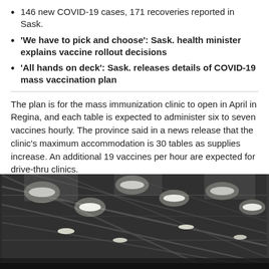146 new COVID-19 cases, 171 recoveries reported in Sask.
'We have to pick and choose': Sask. health minister explains vaccine rollout decisions
'All hands on deck': Sask. releases details of COVID-19 mass vaccination plan
The plan is for the mass immunization clinic to open in April in Regina, and each table is expected to administer six to seven vaccines hourly. The province said in a news release that the clinic's maximum accommodation is 30 tables as supplies increase. An additional 19 vaccines per hour are expected for drive-thru clinics.
[Figure (photo): Interior ceiling of a large warehouse or arena with industrial lighting and steel beams, likely the mass vaccination clinic venue.]